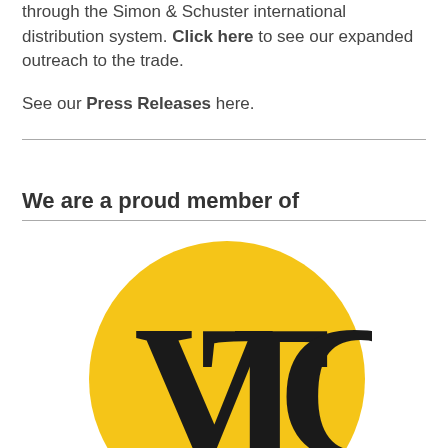through the Simon & Schuster international distribution system. Click here to see our expanded outreach to the trade.
See our Press Releases here.
We are a proud member of
[Figure (logo): VTC logo — a large golden yellow circle with the letters VTC in bold black serif typeface centered within it]